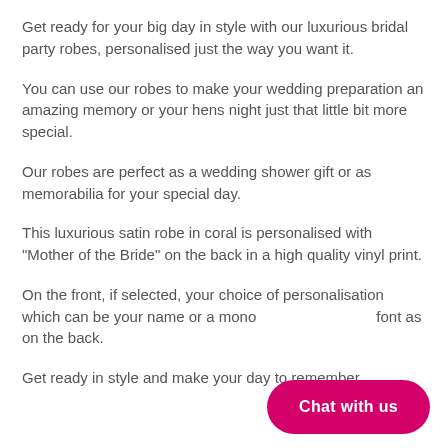Get ready for your big day in style with our luxurious bridal party robes, personalised just the way you want it.
You can use our robes to make your wedding preparation an amazing memory or your hens night just that little bit more special.
Our robes are perfect as a wedding shower gift or as memorabilia for your special day.
This luxurious satin robe in coral is personalised with "Mother of the Bride" on the back in a high quality vinyl print.
On the front, if selected, your choice of personalisation which can be your name or a mono... font as on the back.
Get ready in style and make your day to remember